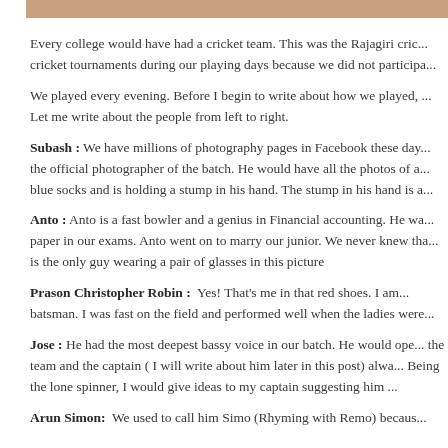[Figure (photo): Partial view of a group photo showing people, cropped at top of page]
Every college would have had a cricket team. This was the Rajagiri cric... cricket tournaments during our playing days because we did not participa...
We played every evening. Before I begin to write about how we played, ... Let me write about the people from left to right.
Subash : We have millions of photography pages in Facebook these day... the official photographer of the batch. He would have all the photos of a... blue socks and is holding a stump in his hand. The stump in his hand is a...
Anto : Anto is a fast bowler and a genius in Financial accounting. He wa... paper in our exams. Anto went on to marry our junior. We never knew tha... is the only guy wearing a pair of glasses in this picture
Prason Christopher Robin : Yes! That's me in that red shoes. I am... batsman. I was fast on the field and performed well when the ladies were...
Jose : He had the most deepest bassy voice in our batch. He would ope... the team and the captain ( I will write about him later in this post) alwa... Being the lone spinner, I would give ideas to my captain suggesting him ...
Arun Simon: We used to call him Simo (Rhyming with Remo) becaus...